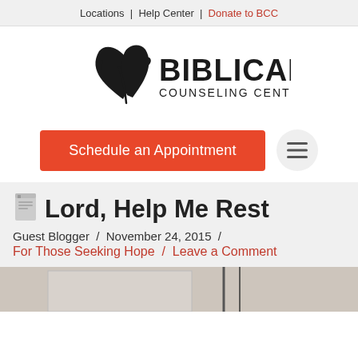Locations | Help Center | Donate to BCC
[Figure (logo): Biblical Counseling Center .org logo with dove/leaf icon]
Schedule an Appointment
Lord, Help Me Rest
Guest Blogger / November 24, 2015 / For Those Seeking Hope / Leave a Comment
[Figure (photo): Partial photo visible at bottom of page, appears to show a window or door frame]